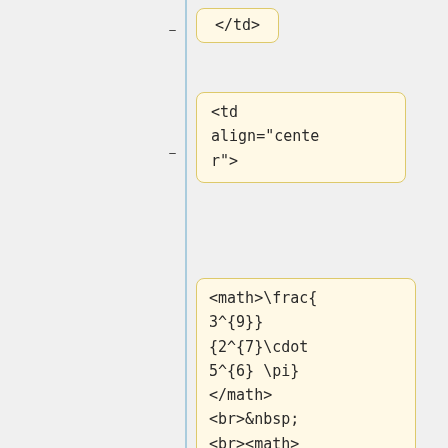</td>
<td align="center">
<math>\frac{3^{9}}{2^{7}\cdot 5^{6} \pi}</math>
<br>&nbsp;<br><math>\approx 0.0031326</math>
</td>
<td align="center">